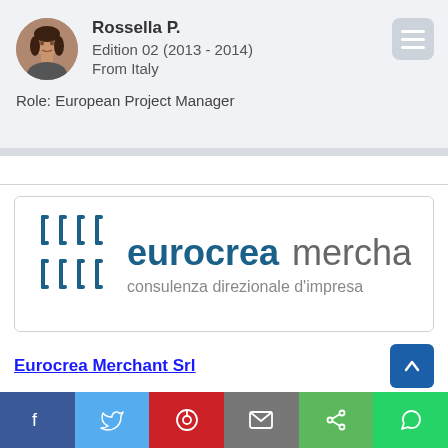Rossella P.
Edition 02 (2013 - 2014)
From Italy
Role: European Project Manager
[Figure (logo): Eurocreamerchant logo with four stylized bracket shapes and text 'eurocreamerchant consulenza direzionale d'impresa']
Eurocrea Merchant Srl
Milan, Italy
Consulting Companies